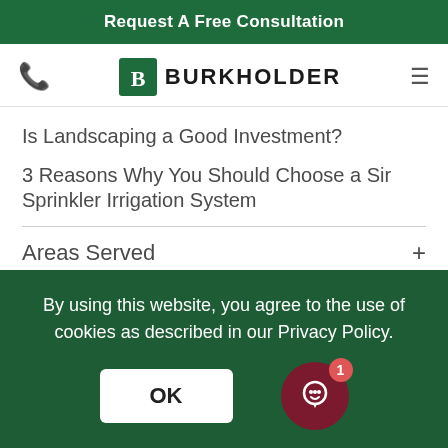Request A Free Consultation
[Figure (logo): Burkholder logo with phone icon and hamburger menu]
Is Landscaping a Good Investment?
3 Reasons Why You Should Choose a Sir Sprinkler Irrigation System
Areas Served +
Services +
By using this website, you agree to the use of cookies as described in our Privacy Policy.
OK